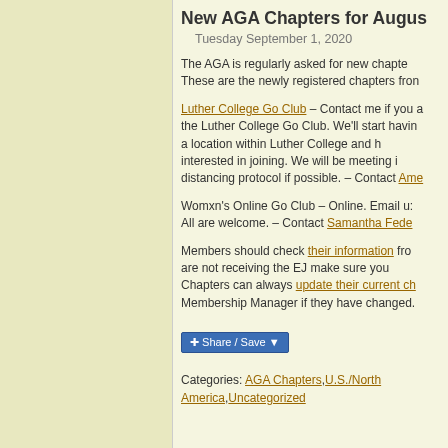New AGA Chapters for August
Tuesday September 1, 2020
The AGA is regularly asked for new chapters. These are the newly registered chapters from
Luther College Go Club – Contact me if you are interested in the Luther College Go Club. We'll start having a location within Luther College and having interested in joining. We will be meeting in distancing protocol if possible. – Contact Ame
Womxn's Online Go Club – Online. Email us. All are welcome. – Contact Samantha Fede
Members should check their information from are not receiving the EJ make sure your Chapters can always update their current ch Membership Manager if they have changed.
Share / Save
Categories: AGA Chapters, U.S./North America, Uncategorized